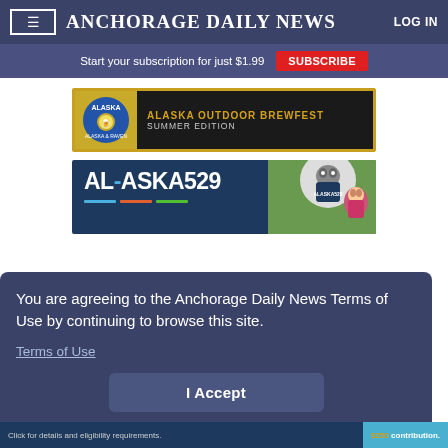≡  ANCHORAGE DAILY NEWS  LOG IN
Start your subscription for just $1.99  SUBSCRIBE
[Figure (illustration): Alaska Outdoor Brewfest Summer Edition advertisement banner with dark background, gold border, and circular Alaska brew festival logo]
[Figure (illustration): Alaska 529 college savings plan advertisement with navy background, large white Alaska 529 text, colored stripes, and image of husky mascot with child]
You are agreeing to the Anchorage Daily News Terms of Use by continuing to browse this site.
Terms of Use
I Accept
Click for details and eligibility requirements.  $250 contribution.